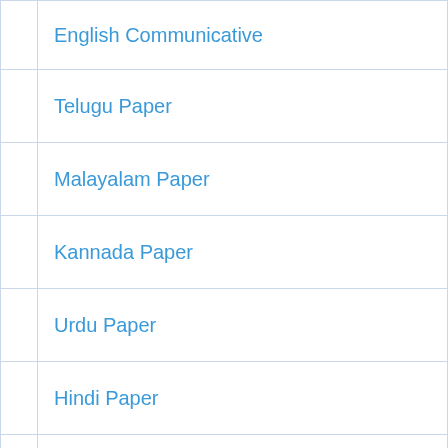|  | English Communicative |
|  | Telugu Paper |
|  | Malayalam Paper |
|  | Kannada Paper |
|  | Urdu Paper |
|  | Hindi Paper |
|  | Sanskrti Paper |
|  | Arabic Paper |
|  | French |